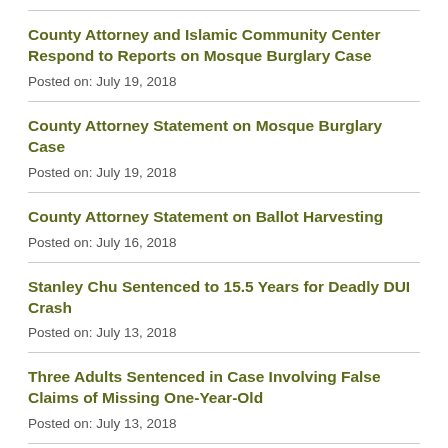County Attorney and Islamic Community Center Respond to Reports on Mosque Burglary Case
Posted on: July 19, 2018
County Attorney Statement on Mosque Burglary Case
Posted on: July 19, 2018
County Attorney Statement on Ballot Harvesting
Posted on: July 16, 2018
Stanley Chu Sentenced to 15.5 Years for Deadly DUI Crash
Posted on: July 13, 2018
Three Adults Sentenced in Case Involving False Claims of Missing One-Year-Old
Posted on: July 13, 2018
Kevin Hevel Sentenced to 16 Years for 2nd Degree